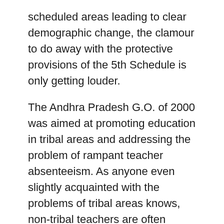scheduled areas leading to clear demographic change, the clamour to do away with the protective provisions of the 5th Schedule is only getting louder.
The Andhra Pradesh G.O. of 2000 was aimed at promoting education in tribal areas and addressing the problem of rampant teacher absenteeism. As anyone even slightly acquainted with the problems of tribal areas knows, non-tribal teachers are often reluctant to travel to or live in remote adivasi hamlets. Another big problem is language. Many non-tribals, including lower government officials, have lived for years in tribal areas without feeling the need to learn tribal languages. At the primary level, mutual incomprehension between non-tribal teachers and tribal students hampers the basic education of children.
The judges tell us that “It is an obnoxious idea that tribals only should teach the tribals” (para 132), but for